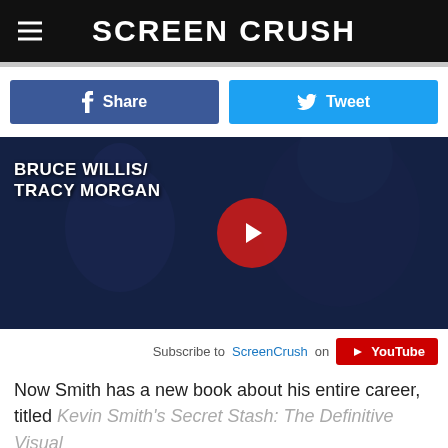SCREEN CRUSH
[Figure (screenshot): Facebook Share and Twitter Tweet social media buttons]
[Figure (screenshot): YouTube video thumbnail showing Kevin Smith related content with play button overlay, text reads BRUCE WILLIS / TRACY MORGAN]
Subscribe to ScreenCrush on YouTube
Now Smith has a new book about his entire career, titled Kevin Smith's Secret Stash: The Definitive Visual History. In it, Smith details his entire career from Clerks to Jay and Silent Bob Reboot, illustrated with numerous film